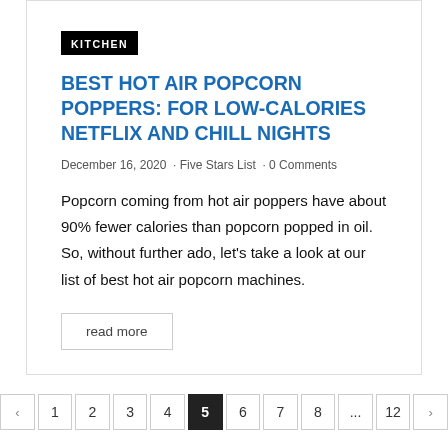KITCHEN
BEST HOT AIR POPCORN POPPERS: FOR LOW-CALORIES NETFLIX AND CHILL NIGHTS
December 16, 2020  · Five Stars List  · 0 Comments
Popcorn coming from hot air poppers have about 90% fewer calories than popcorn popped in oil. So, without further ado, let's take a look at our list of best hot air popcorn machines.
read more
« 1 2 3 4 5 6 7 8 ... 12 »